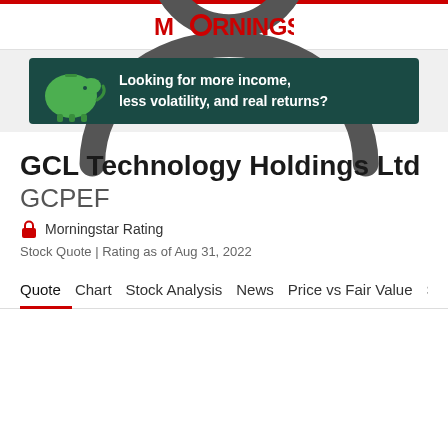Morningstar
[Figure (illustration): Advertisement banner: dark teal background with green piggy bank illustration and text 'Looking for more income, less volatility, and real returns?']
GCL Technology Holdings Ltd GCPEF
🔒 Morningstar Rating
Stock Quote | Rating as of Aug 31, 2022
Quote  Chart  Stock Analysis  News  Price vs Fair Value  Sustai  >